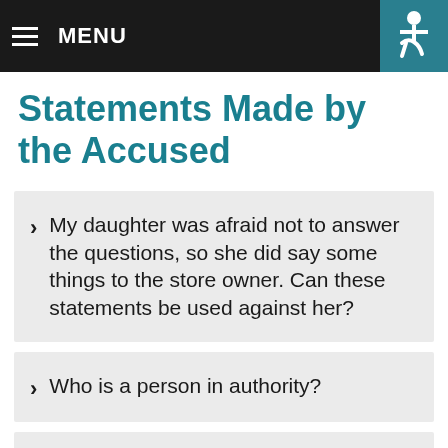MENU
Statements Made by the Accused
My daughter was afraid not to answer the questions, so she did say some things to the store owner. Can these statements be used against her?
Who is a person in authority?
Wh...